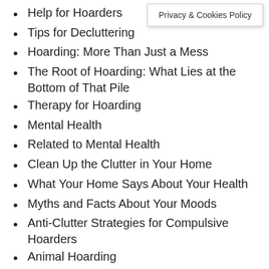Help for Hoarders
Tips for Decluttering
Hoarding: More Than Just a Mess
The Root of Hoarding: What Lies at the Bottom of That Pile
Therapy for Hoarding
Mental Health
Related to Mental Health
Clean Up the Clutter in Your Home
What Your Home Says About Your Health
Myths and Facts About Your Moods
Anti-Clutter Strategies for Compulsive Hoarders
Animal Hoarding
Compulsive hoarding
What is the difference between hoarding and collecting?
Privacy & Cookies Policy